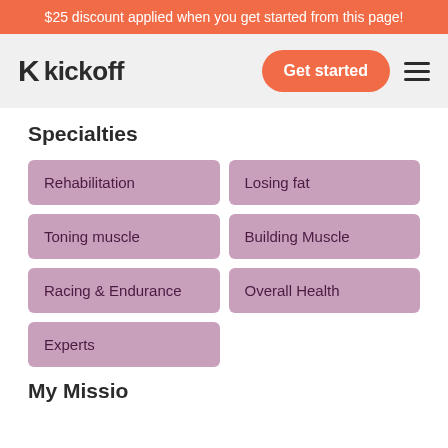$25 discount applied when you get started from this page!
[Figure (logo): Kickoff logo with K icon and 'kickoff' text, plus Get started button and hamburger menu]
Specialties
Rehabilitation
Losing fat
Toning muscle
Building Muscle
Racing & Endurance
Overall Health
Experts
My Mission